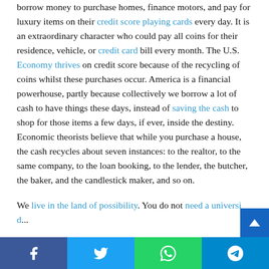Borrowing cash is as American as apple pie. Americans borrow money to purchase homes, finance motors, and pay for luxury items on their credit score playing cards every day. It is an extraordinary character who could pay all coins for their residence, vehicle, or credit card bill every month. The U.S. Economy thrives on credit score because of the recycling of coins whilst these purchases occur. America is a financial powerhouse, partly because collectively we borrow a lot of cash to have things these days, instead of saving the cash to shop for those items a few days, if ever, inside the destiny. Economic theorists believe that while you purchase a house, the cash recycles about seven instances: to the realtor, to the same company, to the loan booking, to the lender, the butcher, the baker, and the candlestick maker, and so on.
We live in the land of possibility. You do not need a university diploma or a direct degree to amount to a lot. All anyone to...